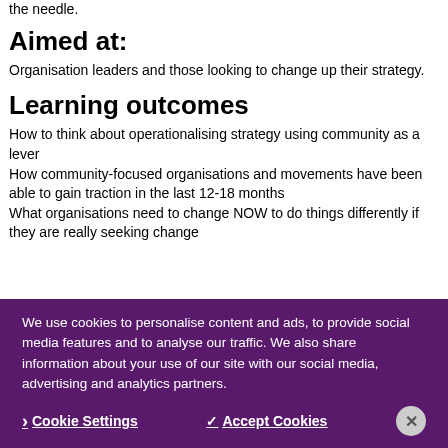the needle.
Aimed at:
Organisation leaders and those looking to change up their strategy.
Learning outcomes
How to think about operationalising strategy using community as a lever
How community-focused organisations and movements have been able to gain traction in the last 12-18 months
What organisations need to change NOW to do things differently if they are really seeking change
We use cookies to personalise content and ads, to provide social media features and to analyse our traffic. We also share information about your use of our site with our social media, advertising and analytics partners.
❯ Cookie Settings   ✓ Accept Cookies   ✕